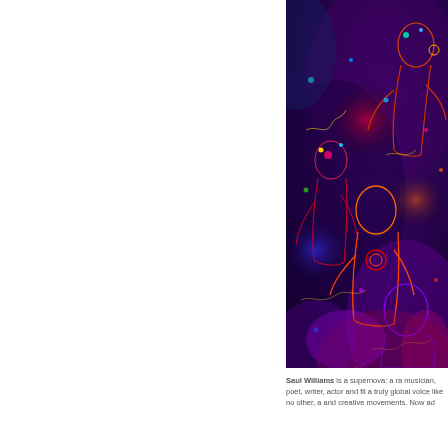[Figure (illustration): A dark, vibrant digital illustration featuring multiple stylized human figures with glowing neon outlines in red, yellow, and teal against a deep purple and blue background. The figures are depicted in various poses, with neon-lit faces and forms creating a crowded, energetic scene.]
Saul Williams is a supernova: a ra musician, poet, writer, actor and fil a truly global voice like no other, a and creative movements. Now ad